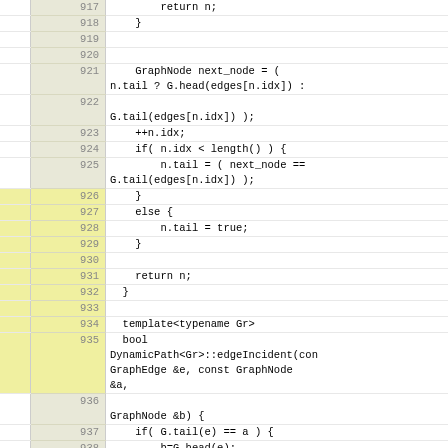[Figure (screenshot): Source code viewer showing C++ code lines 917-942 with line numbers, beige/yellow line number gutter, and code content area. The code shows a DynamicPath graph traversal implementation including next_node logic, edgeIncident function, and tail/head operations.]